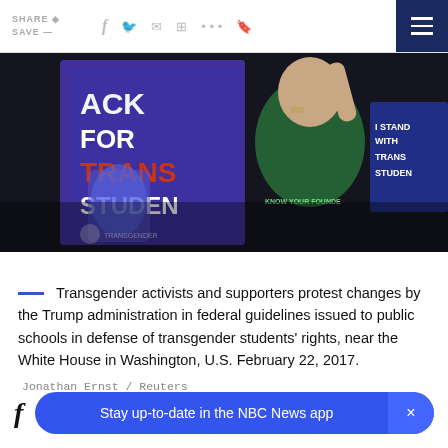SHARE / SAVE
[Figure (photo): Protesters holding signs reading 'Back for Trans Students' and 'I Stand With Trans Students' at a rally near the White House, February 22, 2017. A person in a green shirt with 'Know Your Founded' text is visible.]
Transgender activists and supporters protest changes by the Trump administration in federal guidelines issued to public schools in defense of transgender students' rights, near the White House in Washington, U.S. February 22, 2017.
Jonathan Ernst / Reuters